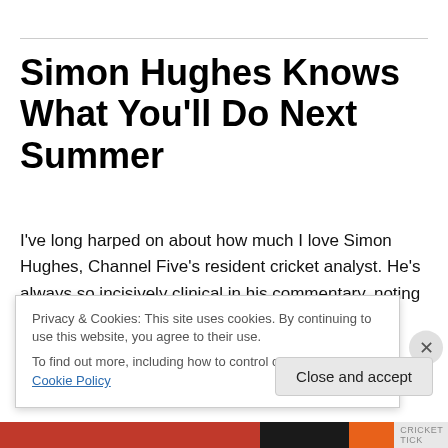Simon Hughes Knows What You'll Do Next Summer
I've long harped on about how much I love Simon Hughes, Channel Five's resident cricket analyst. He's always so incisively clinical in his commentary, noting patterns and strategies and possible influential elements (cloud cover, weather changes, dryness, etc.). That doesn't make him the best commentator: ideally, you want that flair and
Privacy & Cookies: This site uses cookies. By continuing to use this website, you agree to their use.
To find out more, including how to control cookies, see here: Cookie Policy